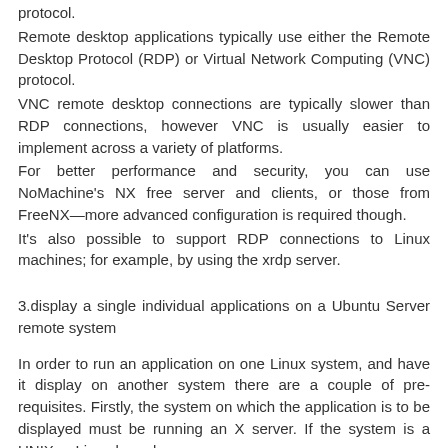protocol.
Remote desktop applications typically use either the Remote Desktop Protocol (RDP) or Virtual Network Computing (VNC) protocol.
VNC remote desktop connections are typically slower than RDP connections, however VNC is usually easier to implement across a variety of platforms.
For better performance and security, you can use NoMachine's NX free server and clients, or those from FreeNX—more advanced configuration is required though.
It's also possible to support RDP connections to Linux machines; for example, by using the xrdp server.
3.display a single individual applications on a Ubuntu Server remote system
In order to run an application on one Linux system, and have it display on another system there are a couple of pre-requisites. Firstly, the system on which the application is to be displayed must be running an X server. If the system is a UNIX or Linux based